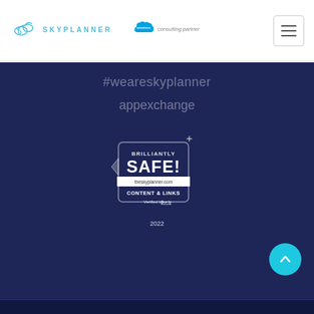SkyPlanner | Salesforce consulting partner
#weareskyplanner
appexchange
[Figure (logo): Brilliantly SAFE! badge - theskyplanner.com - CONTENT & LINKS - Verified by Sur.ly - 2022]